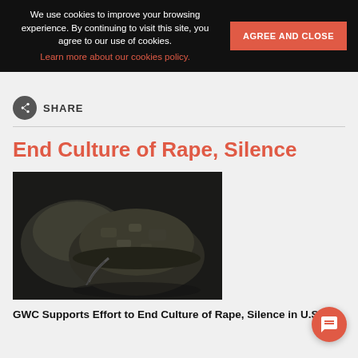We use cookies to improve your browsing experience. By continuing to visit this site, you agree to our use of cookies. Learn more about our cookies policy.
SHARE
End Culture of Rape, Silence
[Figure (photo): Close-up photo of military camouflage helmets on a dark background]
GWC Supports Effort to End Culture of Rape, Silence in U.S.